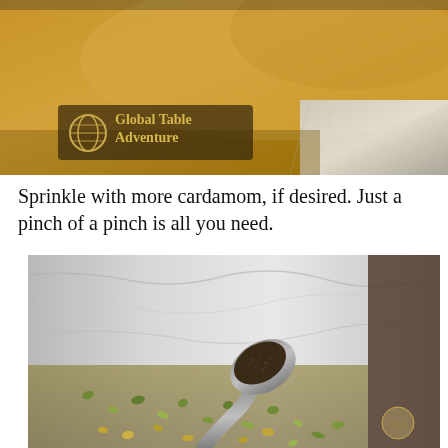[Figure (photo): Close-up food photo showing baked goods with foil, with a Global Table Adventure logo watermark in the lower left corner]
Sprinkle with more cardamom, if desired. Just a pinch of a pinch is all you need.
[Figure (photo): Close-up photo of a measuring spoon filled with dark ground cardamom spice, held over a baking pan lined with foil containing chopped green and yellow food items, with a small watermark logo in lower right]